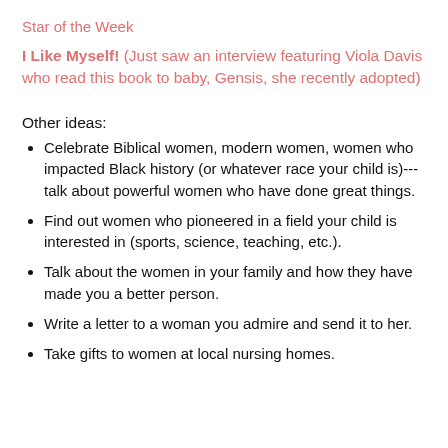Star of the Week
I Like Myself!  (Just saw an interview featuring Viola Davis who read this book to baby, Gensis, she recently adopted)
Other ideas:
Celebrate Biblical women, modern women, women who impacted Black history (or whatever race your child is)---talk about powerful women who have done great things.
Find out women who pioneered in a field your child is interested in (sports, science, teaching, etc.).
Talk about the women in your family and how they have made you a better person.
Write a letter to a woman you admire and send it to her.
Take gifts to women at local nursing homes.